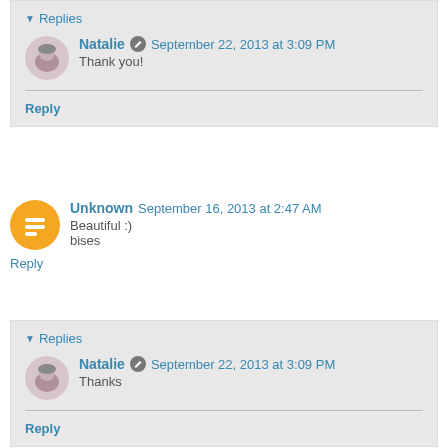▼ Replies
Natalie  September 22, 2013 at 3:09 PM
Thank you!
Reply
Unknown  September 16, 2013 at 2:47 AM
Beautiful :)
bises
Reply
▼ Replies
Natalie  September 22, 2013 at 3:09 PM
Thanks
Reply